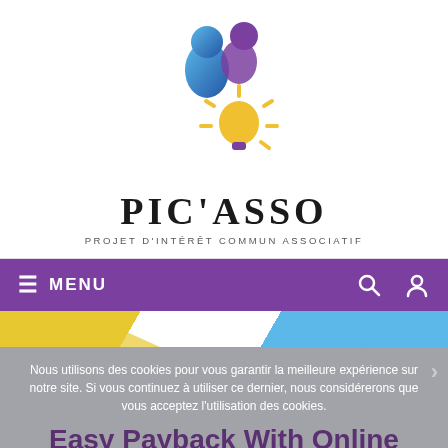[Figure (logo): PIC'ASSO logo with stylized person/lightbulb icons in blue, purple, and yellow]
PIC'ASSO
PROJET D'INTÉRÊT COMMUN ASSOCIATIF
[Figure (screenshot): Purple navigation menu bar with hamburger MENU icon on left and search/user icons on right, followed by decorative strip and cookie consent overlay with heading 'Easy Payback With Online Installment Loans', cookie notice text, OK button, and 'Pour en savoir plus, cliquez ici.' button]